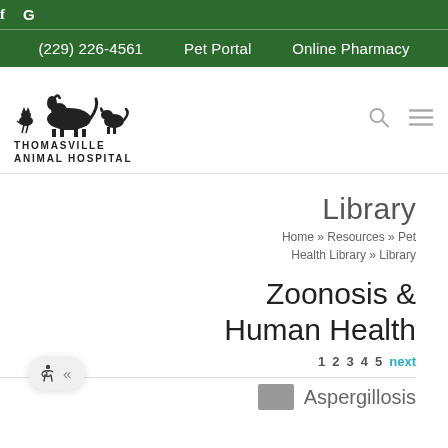f G
(229) 226-4561   Pet Portal   Online Pharmacy
[Figure (logo): Thomasville Animal Hospital logo with silhouettes of animals (cat, horse, dog) above the text THOMASVILLE ANIMAL HOSPITAL]
Library
Home » Resources » Pet Health Library » Library
Zoonosis & Human Health
1 2 3 4 5 next
Aspergillosis